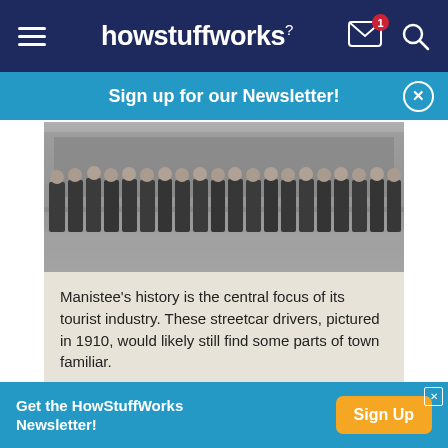howstuffworks
Sign up for our Newsletter!
[Figure (photo): Black and white photograph of a row of streetcar drivers standing in uniform along a street, circa 1910, Manistee, Michigan]
Manistee's history is the central focus of its tourist industry. These streetcar drivers, pictured in 1910, would likely still find some parts of town familiar.
© KIRN VINTAGE STOCK/CORBIS
Population: 6,200 [source: City Data]
Get the HowStuffWorks Newsletter!